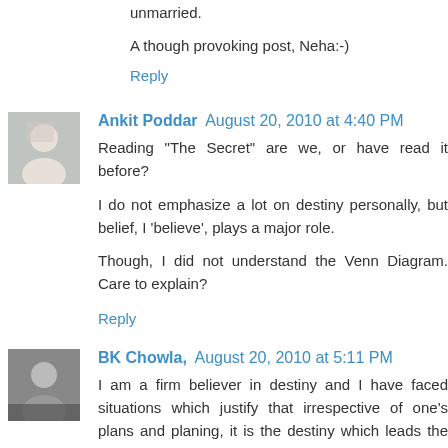unmarried.
A though provoking post, Neha:-)
Reply
Ankit Poddar  August 20, 2010 at 4:40 PM
Reading "The Secret" are we, or have read it before?
I do not emphasize a lot on destiny personally, but belief, I 'believe', plays a major role.
Though, I did not understand the Venn Diagram. Care to explain?
Reply
BK Chowla,  August 20, 2010 at 5:11 PM
I am a firm believer in destiny and I have faced situations which justify that irrespective of one's plans and planing, it is the destiny which leads the path.You will be surprised...